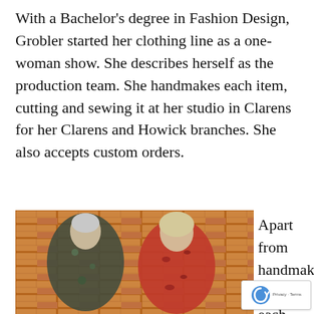With a Bachelor's degree in Fashion Design, Grobler started her clothing line as a one-woman show. She describes herself as the production team. She handmakes each item, cutting and sewing it at her studio in Clarens for her Clarens and Howick branches. She also accepts custom orders.
[Figure (photo): Two women standing against a brick wall, both wearing patterned dresses — one in a dark floral print and one in an orange leopard print dress.]
Apart from handmaking each item, sou her